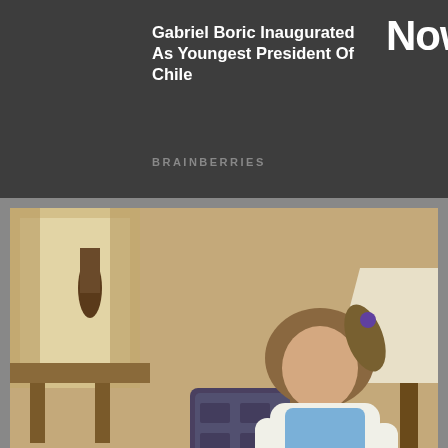Gabriel Boric Inaugurated As Youngest President Of Chile
Now
BRAINBERRIES
[Figure (photo): A woman sitting on a couch with a yellow Labrador dog resting its head on her lap, indoor setting with lamp and chair in the background]
7 Most Memorable Jennifer Aniston Roles After Friends
BRAINBERRIES
[Figure (photo): Close-up of a woman with dark hair, partially visible, with a red scroll-to-top button in the lower right corner]